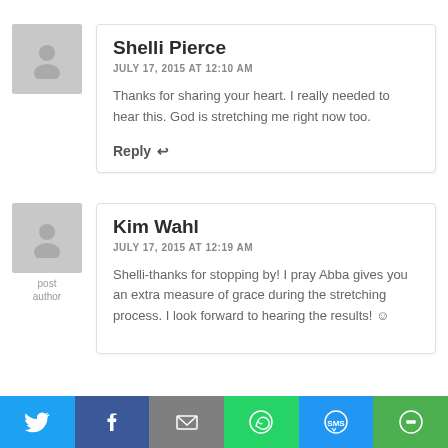[Figure (illustration): Generic user avatar placeholder image - gray silhouette]
Shelli Pierce
JULY 17, 2015 AT 12:10 AM
Thanks for sharing your heart. I really needed to hear this. God is stretching me right now too.
Reply ↩
[Figure (illustration): Generic user avatar placeholder image - gray silhouette with post author label]
post author
Kim Wahl
JULY 17, 2015 AT 12:19 AM
Shelli-thanks for stopping by! I pray Abba gives you an extra measure of grace during the stretching process. I look forward to hearing the results! ☺
[Figure (infographic): Social share bar with Twitter, Facebook, Email, WhatsApp, SMS, and More buttons]